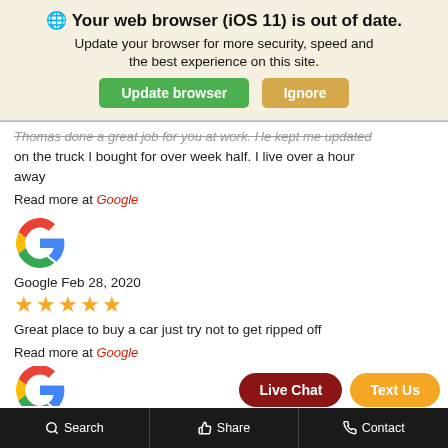[Figure (screenshot): Browser update banner with globe icon, bold warning text, Update browser green button, and Ignore gold button]
Thomas done a great job for you at work. He kept me updated on the truck I bought for over week half. I live over a hour away
Read more at Google
[Figure (logo): Google G logo (colored)]
Google Feb 28, 2020
★★★★★
Great place to buy a car just try not to get ripped off
Read more at Google
[Figure (logo): Google G logo (colored, partially visible)]
[Figure (screenshot): Live Chat and Text Us floating action buttons]
Search   Share   Contact